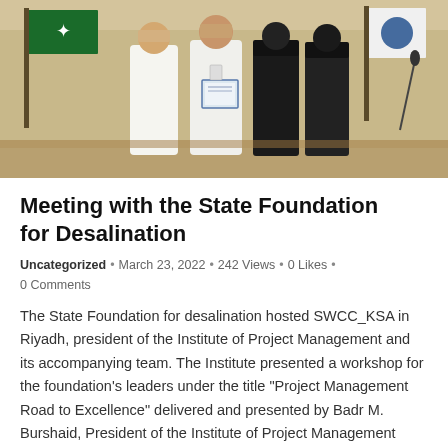[Figure (photo): Group photo of people including men in white thobes and women in black abayas standing in a formal room with Saudi Arabian and organizational flags visible in the background. One person is holding a framed certificate or document.]
Meeting with the State Foundation for Desalination
Uncategorized • March 23, 2022 • 242 Views • 0 Likes • 0 Comments
The State Foundation for desalination hosted SWCC_KSA in Riyadh, president of the Institute of Project Management and its accompanying team. The Institute presented a workshop for the foundation's leaders under the title "Project Management Road to Excellence" delivered and presented by Badr M. Burshaid, President of the Institute of Project Management Saudi Arabia